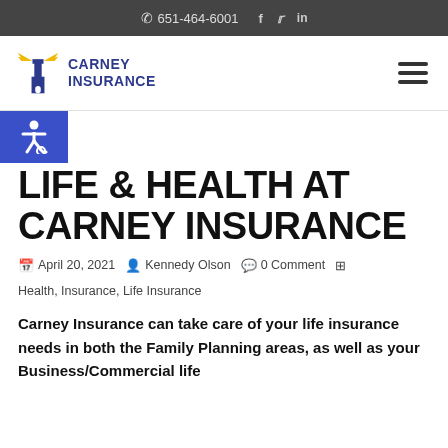651-464-6001
[Figure (logo): Carney Insurance lighthouse logo with text CARNEY INSURANCE]
LIFE & HEALTH AT CARNEY INSURANCE
April 20, 2021  Kennedy Olson  0 Comment  Health, Insurance, Life Insurance
Carney Insurance can take care of your life insurance needs in both the Family Planning areas, as well as your Business/Commercial life